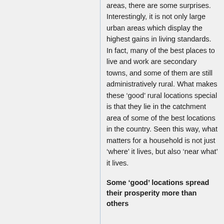areas, there are some surprises. Interestingly, it is not only large urban areas which display the highest gains in living standards. In fact, many of the best places to live and work are secondary towns, and some of them are still administratively rural. What makes these ‘good’ rural locations special is that they lie in the catchment area of some of the best locations in the country. Seen this way, what matters for a household is not just ‘where’ it lives, but also ‘near what’ it lives.
Some ‘good’ locations spread their prosperity more than others